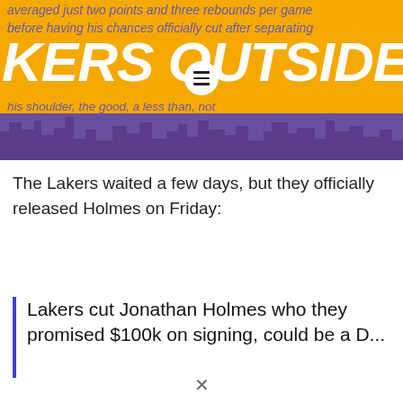[Figure (screenshot): Lakers Outside website header banner with gold background, purple skyline silhouette, site title 'KERS OUTSIDE' in white italic bold text, hamburger menu icon, and overlaid italic purple body text about Holmes averaging two points and three rebounds per game before having his chances officially cut after separating his shoulder, resulting in an early exit on the other end.]
The Lakers waited a few days, but they officially released Holmes on Friday:
Lakers cut Jonathan Holmes who they promised $100k on signing, could be a D...